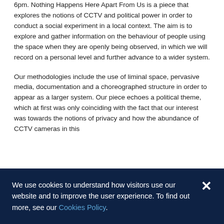6pm. Nothing Happens Here Apart From Us is a piece that explores the notions of CCTV and political power in order to conduct a social experiment in a local context. The aim is to explore and gather information on the behaviour of people using the space when they are openly being observed, in which we will record on a personal level and further advance to a wider system.
Our methodologies include the use of liminal space, pervasive media, documentation and a choreographed structure in order to appear as a larger system. Our piece echoes a political theme, which at first was only coinciding with the fact that our interest was towards the notions of privacy and how the abundance of CCTV cameras in this
We use cookies to understand how visitors use our website and to improve the user experience. To find out more, see our Cookies Policy.